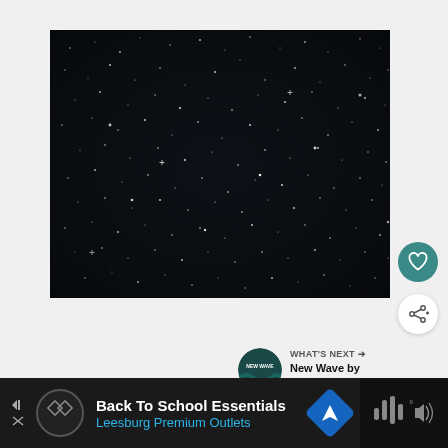[Figure (photo): Night sky photograph showing stars against a very dark navy/black background, with many small white dots representing stars scattered across the image]
[Figure (other): Heart (favorite) button — teal circular button with white heart icon]
[Figure (other): Share button — white circular button with share/network icon]
WHAT'S NEXT →
New Wave by
Jennifer Ann...
Back To School Essentials
Leesburg Premium Outlets